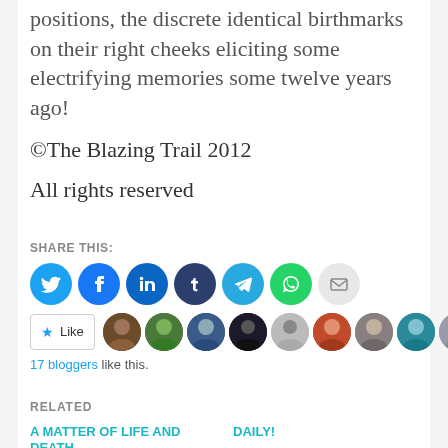positions, the discrete identical birthmarks on their right cheeks eliciting some electrifying memories some twelve years ago!
©The Blazing Trail 2012
All rights reserved
SHARE THIS:
[Figure (infographic): Row of social media share icon circles: Twitter (blue), Facebook (blue), LinkedIn (dark blue), Tumblr (dark navy), Telegram (light blue), WhatsApp (green), Email (light gray)]
[Figure (infographic): Like button and avatars row showing 17 blogger profile pictures]
17 bloggers like this.
RELATED
A MATTER OF LIFE AND DEATH
Growing up wasn't
DAILY!
No color of words could attempt to describe the